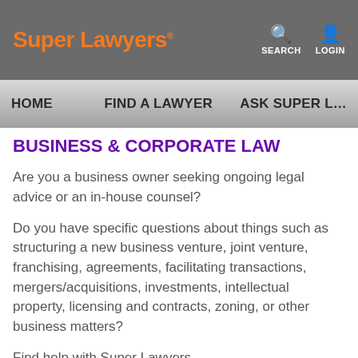Super Lawyers® — SEARCH  LOGIN
HOME   FIND A LAWYER   ASK SUPER L…
BUSINESS & CORPORATE LAW
Are you a business owner seeking ongoing legal advice or an in-house counsel?
Do you have specific questions about things such as structuring a new business venture, joint venture, franchising, agreements, facilitating transactions, mergers/acquisitions, investments, intellectual property, licensing and contracts, zoning, or other business matters?
Find help with Super Lawyers.
Super Lawyers offers a free, comprehensive directory of highly experienced corporate attorneys who've attained a